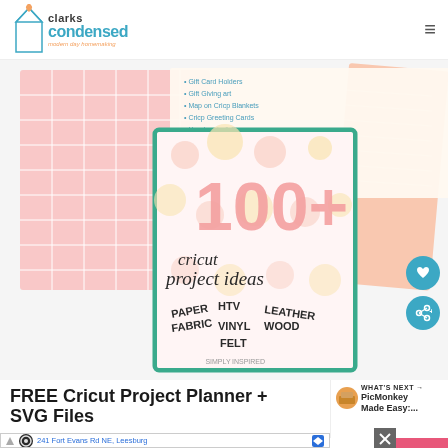clarks condensed - modern day homemaking
[Figure (illustration): Cricut project planner booklet cover showing '100+ cricut project ideas' with categories PAPER, HTV, LEATHER, FABRIC, VINYL, WOOD, FELT on a pink polka dot background with teal border, alongside two other pink/white supplementary sheets]
FREE Cricut Project Planner + SVG Files
[Figure (photo): What's Next thumbnail - PicMonkey Made Easy article preview with food photo]
WHAT'S NEXT → PicMonkey Made Easy:...
241 Fort Evans Rd NE, Leesburg